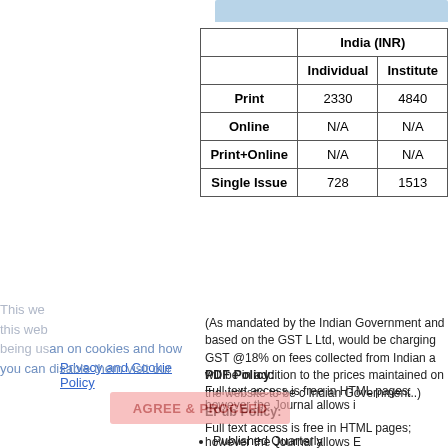|  | India (INR) |  |
| --- | --- | --- |
|  | Individual | Institute |
| Print | 2330 | 4840 |
| Online | N/A | N/A |
| Print+Online | N/A | N/A |
| Single Issue | 728 | 1513 |
(As mandated by the Indian Government and based on the GST L Ltd, would be charging GST @18% on fees collected from Indian a will be in addition to the prices maintained on the website to be c Indian Government..)
PDF Policy:
Full text access is free in HTML pages; however the Journal allows i
EPub Policy:
Full text access is free in HTML pages; however the Journal allows E
Published Quarterly